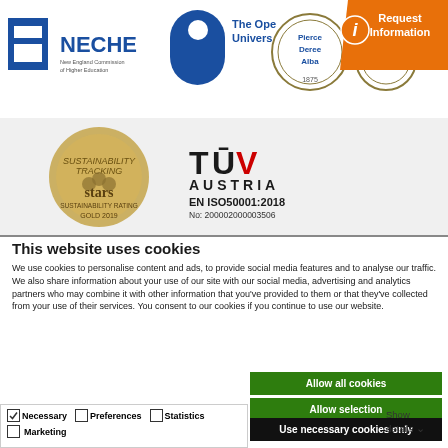[Figure (logo): Header with institutional logos: NECHE, Open University logo, The Open University text, The American College of Greece (Pierce/Deree/Alba 1875), ACG Greece 1875 seal, and orange Request Information badge]
[Figure (logo): STARS sustainability rating medallion (gold/bronze) and TUV Austria EN ISO50001:2018 certification badge, No: 200002000003506]
This website uses cookies
We use cookies to personalise content and ads, to provide social media features and to analyse our traffic. We also share information about your use of our site with our social media, advertising and analytics partners who may combine it with other information that you've provided to them or that they've collected from your use of their services. You consent to our cookies if you continue to use our website.
Allow all cookies
Allow selection
Use necessary cookies only
Necessary  Preferences  Statistics  Marketing  Show details